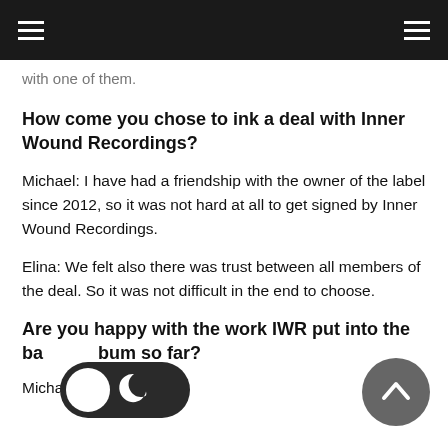with one of them.
How come you chose to ink a deal with Inner Wound Recordings?
Michael: I have had a friendship with the owner of the label since 2012, so it was not hard at all to get signed by Inner Wound Recordings.
Elina: We felt also there was trust between all members of the deal. So it was not difficult in the end to choose.
Are you happy with the work IWR put into the ba[toggle]bum so far?
Michael: Ab...